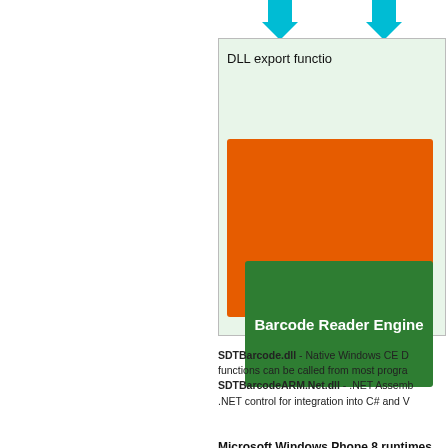[Figure (engineering-diagram): Diagram showing DLL export functions box (light green) containing orange background with Barcode Reader Engine (dark green box, white text). Two cyan down arrows at top entering the box.]
SDTBarcode.dll - Native Windows CE DLL. The DLL export functions can be called from most programming languages. SDTBarcodeARM.Net.dll - .NET Assembly providing a .NET control for integration into C# and VB.NET
Microsoft Windows Phone 8 runtimes
[Figure (engineering-diagram): Diagram showing Windows Phone 8 Application (Managed C++, C#, VB.NET) blue box, with .NET Framework light blue bar below it, and a bidirectional cyan arrow pointing down into lower area of diagram.]